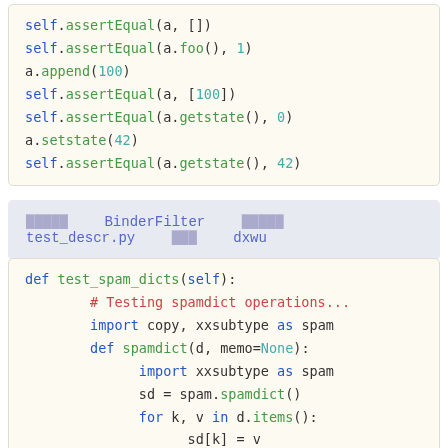[Figure (screenshot): Python code block showing assertEqual and setstate calls: self.assertEqual(a, []), self.assertEqual(a.foo(), 1), a.append(100), self.assertEqual(a, [100]), self.assertEqual(a.getstate(), 0), a.setstate(42), self.assertEqual(a.getstate(), 42)]
##### BinderFilter   ##### test_descr.py   ### dxwu
[Figure (screenshot): Python code block: def test_spam_dicts(self): # Testing spamdict operations... import copy, xxsubtype as spam def spamdict(d, memo=None): import xxsubtype as spam sd = spam.spamdict() for k, v in d.items(): sd[k] = v return sd]